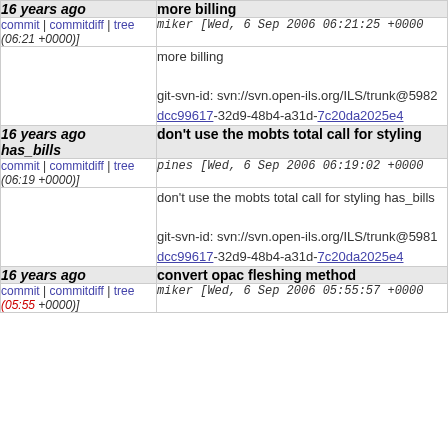| 16 years ago | more billing |
| commit | commitdiff | tree (06:21 +0000)] | miker [Wed, 6 Sep 2006 06:21:25 +0000 (06:21 +0000)] |
|  | more billing

git-svn-id: svn://svn.open-ils.org/ILS/trunk@5982 dcc99617-32d9-48b4-a31d-7c20da2025e4 |
| 16 years ago has_bills | don't use the mobts total call for styling |
| commit | commitdiff | tree (06:19 +0000)] | pines [Wed, 6 Sep 2006 06:19:02 +0000 (06:19 +0000)] |
|  | don't use the mobts total call for styling has_bills

git-svn-id: svn://svn.open-ils.org/ILS/trunk@5981 dcc99617-32d9-48b4-a31d-7c20da2025e4 |
| 16 years ago | convert opac fleshing method |
| commit | commitdiff | tree (05:55 +0000)] | miker [Wed, 6 Sep 2006 05:55:57 +0000 |